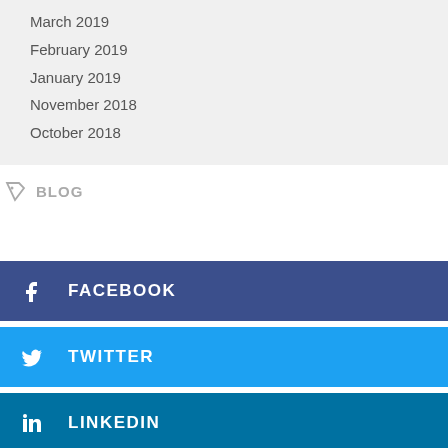March 2019
February 2019
January 2019
November 2018
October 2018
BLOG
FACEBOOK
TWITTER
LINKEDIN
PINTEREST